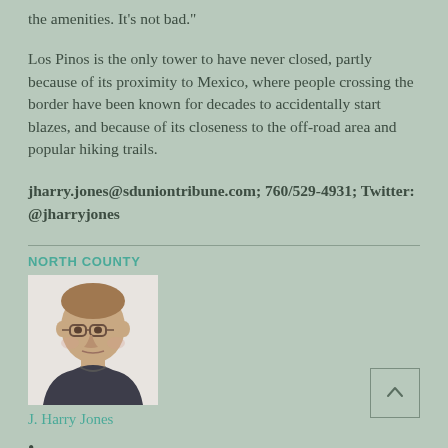the amenities. It’s not bad.”
Los Pinos is the only tower to have never closed, partly because of its proximity to Mexico, where people crossing the border have been known for decades to accidentally start blazes, and because of its closeness to the off-road area and popular hiking trails.
jharry.jones@sduniontribune.com; 760/529-4931; Twitter: @jharryjones
NORTH COUNTY
[Figure (photo): Headshot photo of J. Harry Jones, a middle-aged man with glasses]
J. Harry Jones
•